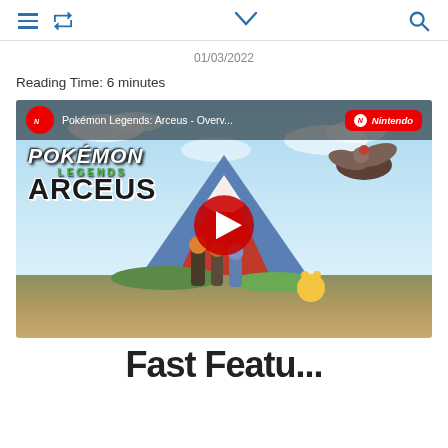≡ ↺ ∨ 🔍
01/03/2022
Reading Time: 6 minutes
[Figure (screenshot): YouTube video thumbnail for Pokémon Legends: Arceus - Overview trailer by Nintendo, showing the game logo with characters and Pokémon standing before a large blue volcano with a red peak, a large bird Pokémon overhead. A red YouTube play button is centered on the image.]
Fast Featu...